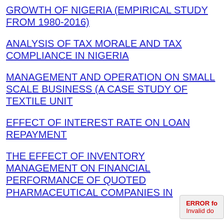GROWTH OF NIGERIA (EMPIRICAL STUDY FROM 1980-2016)
ANALYSIS OF TAX MORALE AND TAX COMPLIANCE IN NIGERIA
MANAGEMENT AND OPERATION ON SMALL SCALE BUSINESS (A CASE STUDY OF TEXTILE UNIT
EFFECT OF INTEREST RATE ON LOAN REPAYMENT
THE EFFECT OF INVENTORY MANAGEMENT ON FINANCIAL PERFORMANCE OF QUOTED PHARMACEUTICAL COMPANIES IN
ERROR for Invalid do